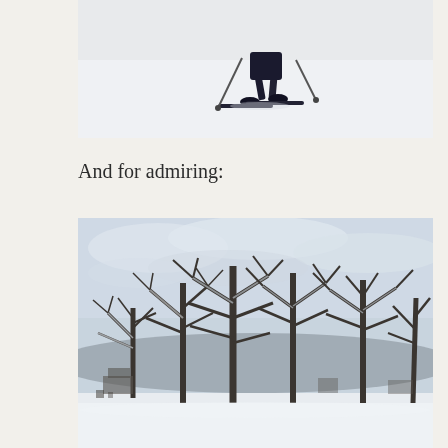[Figure (photo): A person cross-country skiing on a snowy field, wearing dark clothing and using ski poles, photographed from behind/side, showing only the lower body and skis on white snow.]
And for admiring:
[Figure (photo): A winter landscape with large bare deciduous trees covered in snow, with a grey overcast sky, snow-covered ground, and buildings/structures barely visible in the background.]